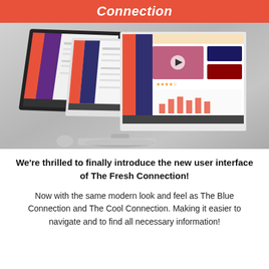Connection
[Figure (screenshot): A computer monitor displaying multiple overlapping screenshots of The Fresh Connection software user interface, with orange and dark blue sidebar panels, on a grey background.]
We're thrilled to finally introduce the new user interface of The Fresh Connection!
Now with the same modern look and feel as The Blue Connection and The Cool Connection. Making it easier to navigate and to find all necessary information!